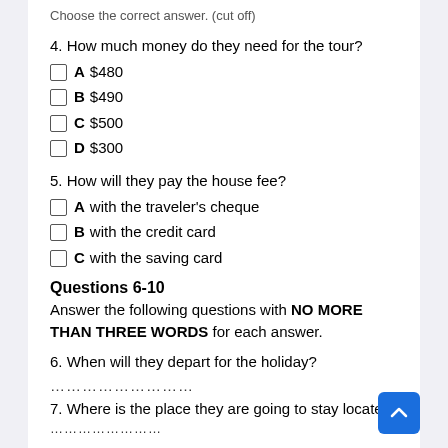Choose the correct answer. (cut off)
4. How much money do they need for the tour?
A $480
B $490
C $500
D $300
5. How will they pay the house fee?
A with the traveler's cheque
B with the credit card
C with the saving card
Questions 6-10
Answer the following questions with NO MORE THAN THREE WORDS for each answer.
6. When will they depart for the holiday?
…………………
7. Where is the place they are going to stay located